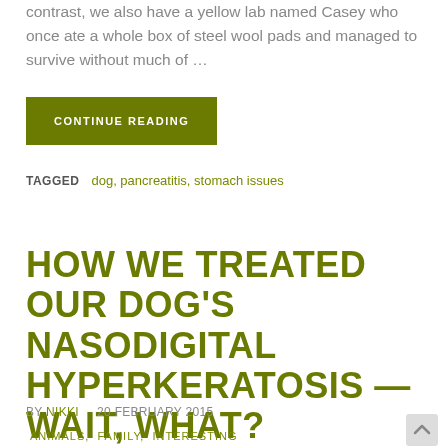contrast, we also have a yellow lab named Casey who once ate a whole box of steel wool pads and managed to survive without much of …
CONTINUE READING
TAGGED   dog, pancreatitis, stomach issues
HOW WE TREATED OUR DOG'S NASODIGITAL HYPERKERATOSIS — WAIT, WHAT?
BY NIKKI   20 FEBRUARY 2015
ANIMALS, FAMILY, INTERESTING